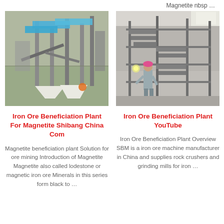Magnetite nbsp …
[Figure (photo): Aerial view of an iron ore beneficiation plant with blue-roofed structures and industrial equipment]
Iron Ore Beneficiation Plant For Magnetite Shibang China Com
Magnetite beneficiation plant Solution for ore mining Introduction of Magnetite Magnetite also called lodestone or magnetic iron ore Minerals in this series form black to …
[Figure (photo): Interior of an industrial facility showing metal scaffolding stairs and a worker wearing a helmet]
Iron Ore Beneficiation Plant YouTube
Iron Ore Beneficiation Plant Overview SBM is a iron ore machine manufacturer in China and supplies rock crushers and grinding mills for iron …